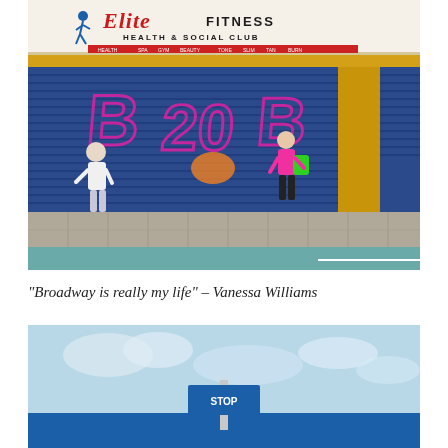[Figure (photo): Street scene showing a closed Elite Fitness Health & Social Club storefront with blue roller shutters covered in pink graffiti. A man in white walks on the left, a woman in a pink top with a green bag walks on the right. The pavement and road are visible in the foreground.]
“Broadway is really my life” – Vanessa Williams
[Figure (photo): Partial view of a blue sign or building facade against a light blue cloudy sky, with the image cropped at the bottom of the page.]